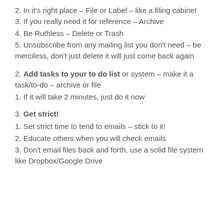2. In it's right place – File or Label – like a filing cabinet
3. If you really need it for reference – Archive
4. Be Ruthless – Delete or Trash
5. Unsubscribe from any mailing list you don't need – be merciless, don't just delete it will just come back again
2. Add tasks to your to do list or system – make it a task/to-do – archive or file
1. If it will take 2 minutes, just do it now
3. Get strict!
1. Set strict time to tend to emails – stick to it!
2. Educate others when you will check emails
3. Don't email files back and forth, use a solid file system like Dropbox/Google Drive